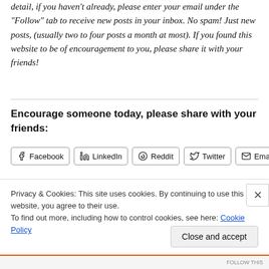detail, if you haven’t already, please enter your email under the “Follow” tab to receive new posts in your inbox. No spam! Just new posts, (usually two to four posts a month at most). If you found this website to be of encouragement to you, please share it with your friends!
Encourage someone today, please share with your friends:
[Figure (other): Social share buttons for Facebook, LinkedIn, Reddit, Twitter, and Email]
Privacy & Cookies: This site uses cookies. By continuing to use this website, you agree to their use.
To find out more, including how to control cookies, see here: Cookie Policy
Close and accept